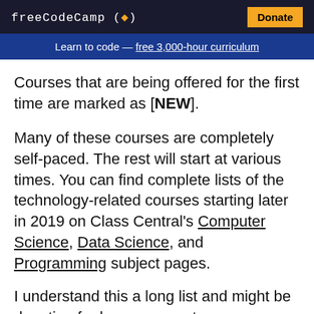freeCodeCamp(🔥)  Donate
Learn to code — free 3,000-hour curriculum
Courses that are being offered for the first time are marked as [NEW].
Many of these courses are completely self-paced. The rest will start at various times. You can find complete lists of the technology-related courses starting later in 2019 on Class Central's Computer Science, Data Science, and Programming subject pages.
I understand this a long list and might be daunting for learners new to programming. In